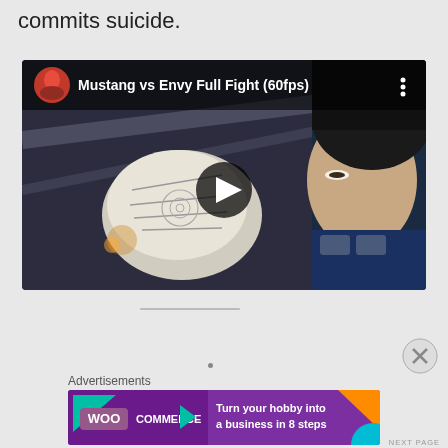commits suicide.
[Figure (screenshot): YouTube video embed showing 'Mustang vs Envy Full Fight (60fps)' with anime character thumbnail, play button overlay, video title bar with channel avatar.]
Advertisements
[Figure (screenshot): WooCommerce advertisement banner: 'Turn your hobby into a business in 8 steps' with teal and orange triangles on purple background.]